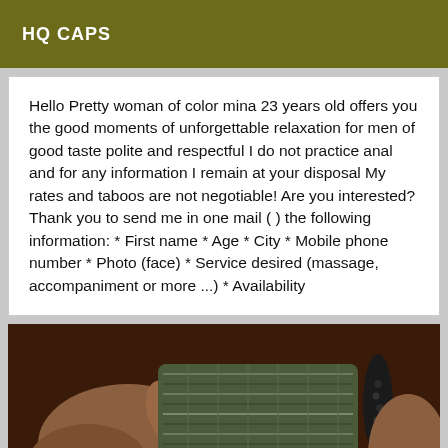HQ CAPS
Hello Pretty woman of color mina 23 years old offers you the good moments of unforgettable relaxation for men of good taste polite and respectful I do not practice anal and for any information I remain at your disposal My rates and taboos are not negotiable! Are you interested? Thank you to send me in one mail ( ) the following information: * First name * Age * City * Mobile phone number * Photo (face) * Service desired (massage, accompaniment or more ...) * Availability
[Figure (photo): Close-up photo of a person wearing a patterned fabric/clothing item]